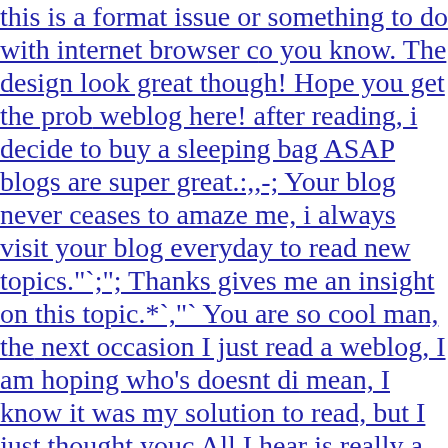this is a format issue or something to do with internet browser compatibility you know. The design look great though! Hope you get the problem solved soon. weblog here! after reading, i decide to buy a sleeping bag ASAP blogs are super great.:,,-; Your blog never ceases to amaze me, i always visit your blog everyday to read new topics."";" Thanks gives me an insight on this topic.*`,"` You are so cool man, the next occasion I just read a weblog, I am hoping who's doesnt disappoint me as mean, I know it was my solution to read, but I just thought youd have something interesting All I hear is really a couple of whining about something you could fix if you weren't too searching for attention. Substantially, the post is actually the greatest on this topic. I agree with your conclusions and also will thirstily look forward to your future updates. Saying thanks will certainly not simply be adequate, for the extraordinary clarity in your writing. I will grab your rss feed to stay abreast of any kind of updates. Fabulous work and much success in your business enterprize! I really love the way you discuss this kind of topic.Please check out my link to your blog! We are a team of volunteers and starting a new project in a community. Your blog provided us beneficial information to work on. You have done a marvellous job! I love the way you post topics, how i wish i could write like that.;*;-` Good day! I simply want to give a huge found your blog.;,""' I see that you are using WordPress on your blog, wordpress is the best. Do you have a facebook fan page for your blog?";~ I think this is among the most vital info for me. And i'm glad reading your article. But want to remark on few general things, The web site style is perfect, the articles is really great : D. Good job, cheers Have you tried this? I found it to be cool.,".* ; Isn't it entertaining if we always talk about topics like that? discuss this topic the way you do…-:` Only a few blogger would discuss this openly. Sometimes your blog is loading slowly, better find a better host. topics, how i wish i could write like that.;..',, Sometimes, blogg